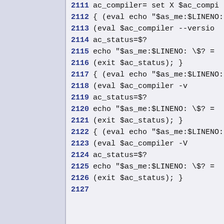2111  ac_compiler= set X $ac_compi
2112  { (eval echo "$as_me:$LINENO:
2113      (eval $ac_compiler --versio
2114      ac_status=$?
2115      echo "$as_me:$LINENO: \$? =
2116      (exit $ac_status); }
2117  { (eval echo "$as_me:$LINENO:
2118      (eval $ac_compiler -v </de
2119      ac_status=$?
2120      echo "$as_me:$LINENO: \$? =
2121      (exit $ac_status); }
2122  { (eval echo "$as_me:$LINENO:
2123      (eval $ac_compiler -V </de
2124      ac_status=$?
2125      echo "$as_me:$LINENO: \$? =
2126      (exit $ac_status); }
2127